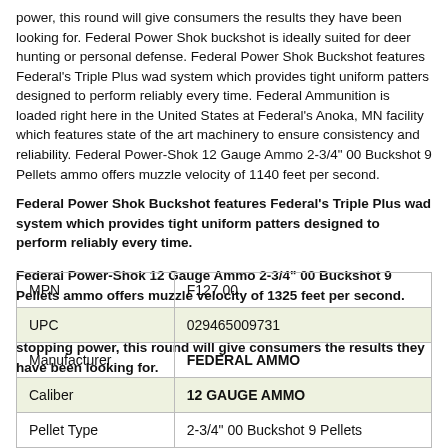power, this round will give consumers the results they have been looking for. Federal Power Shok buckshot is ideally suited for deer hunting or personal defense. Federal Power Shok Buckshot features Federal's Triple Plus wad system which provides tight uniform patters designed to perform reliably every time. Federal Ammunition is loaded right here in the United States at Federal's Anoka, MN facility which features state of the art machinery to ensure consistency and reliability. Federal Power-Shok 12 Gauge Ammo 2-3/4" 00 Buckshot 9 Pellets ammo offers muzzle velocity of 1140 feet per second.
Federal Power Shok Buckshot features Federal's Triple Plus wad system which provides tight uniform patters designed to perform reliably every time.
Federal Power-Shok 12 Gauge Ammo 2-3/4" 00 Buckshot 9 Pellets ammo offers muzzle velocity of 1325 feet per second.
Combined with Federal's reputation for quality and awesome stopping power, this round will give consumers the results they have been looking for.
| MPN | F127 00 |
| --- | --- |
| UPC | 029465009731 |
| Manufacturer | FEDERAL AMMO |
| Caliber | 12 GAUGE AMMO |
| Pellet Type | 2-3/4" 00 Buckshot 9 Pellets |